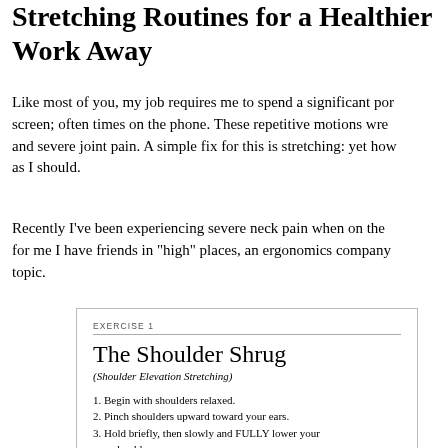Stretching Routines for a Healthier Work Away
Like most of you, my job requires me to spend a significant portion of time staring at a screen; often times on the phone. These repetitive motions wreak havoc causing muscle and severe joint pain. A simple fix for this is stretching: yet how many of us do it as much as I should.
Recently I've been experiencing severe neck pain when on the phone. Fortunately for me I have friends in "high" places, an ergonomics company that shared info on this topic.
EXERCISE 1
The Shoulder Shrug
(Shoulder Elevation Stretching)
1. Begin with shoulders relaxed.
2. Pinch shoulders upward toward your ears.
3. Hold briefly, then slowly and FULLY lower your shoulders.
4. Three repetitions, 5 times per day.
THE EMPHASIS IN THIS EXERCISE IS ON RELAXATION